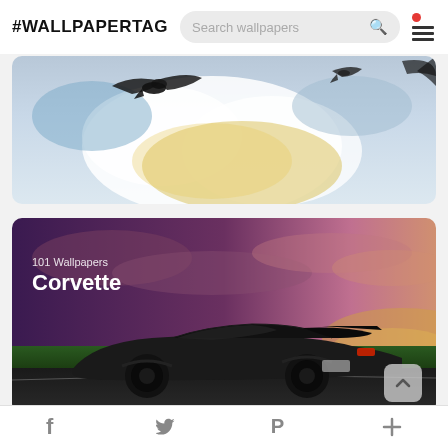#WALLPAPERTAG  Search wallpapers
[Figure (photo): A dramatic sky with birds/eagles flying, watercolor-style clouds with blue and golden tones, partial view of a wing-like shape at top right]
[Figure (photo): A dark Corvette sports car photographed from rear three-quarter angle on a road with a dramatic purple/pink sunset sky. Overlaid text reads '101 Wallpapers' and 'Corvette']
f  (Twitter bird)  P  +